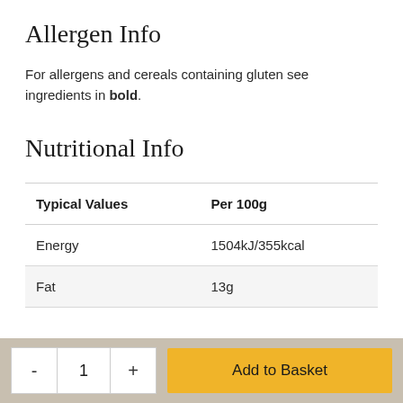Allergen Info
For allergens and cereals containing gluten see ingredients in bold.
Nutritional Info
| Typical Values | Per 100g |
| --- | --- |
| Energy | 1504kJ/355kcal |
| Fat | 13g |